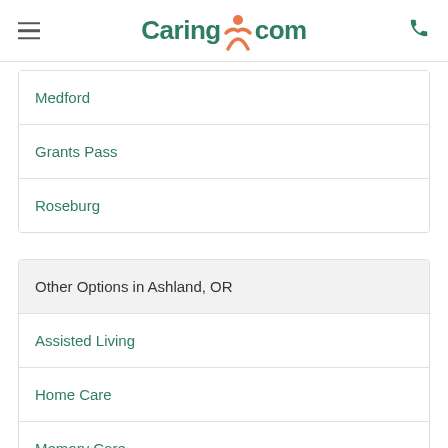Caring.com
Medford
Grants Pass
Roseburg
Other Options in Ashland, OR
Assisted Living
Home Care
Memory Care
Senior Living
Senior Care